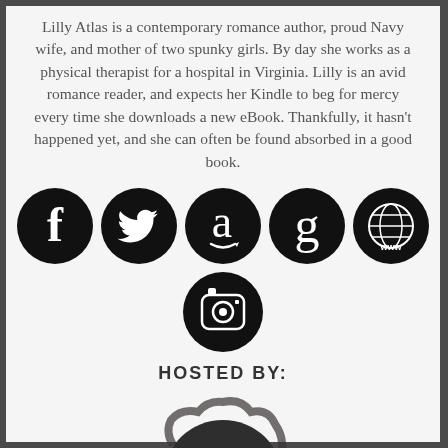Lilly Atlas is a contemporary romance author, proud Navy wife, and mother of two spunky girls. By day she works as a physical therapist for a hospital in Virginia. Lilly is an avid romance reader, and expects her Kindle to beg for mercy every time she downloads a new eBook. Thankfully, it hasn't happened yet, and she can often be found absorbed in a good book.
[Figure (infographic): Row of 5 black circular social media icons: Facebook, Twitter, Amazon, Goodreads, Website (www globe)]
[Figure (infographic): Single black circular Instagram icon]
HOSTED BY:
[Figure (logo): Partial dark circular logo with yellow letter visible at bottom, brush-stroke style]